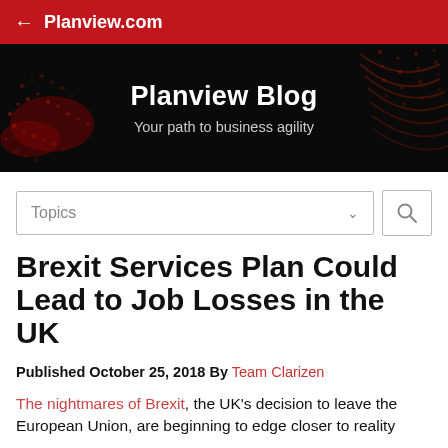← Planview.com
[Figure (illustration): Planview Blog hero banner with dark background and red dot-wave graphic design, showing 'Planview Blog' title and 'Your path to business agility' subtitle]
Topics [dropdown] [search icon]
Brexit Services Plan Could Lead to Job Losses in the UK
Published October 25, 2018 By Team Clarizen
The nightmares of Brexit, the UK's decision to leave the European Union, are beginning to edge closer to reality